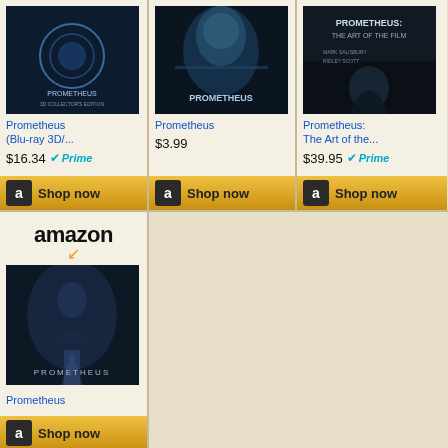[Figure (screenshot): Amazon product listing for Prometheus (Blu-ray 3D/...) showing movie cover with blue glowing sphere, price $16.34 with Prime badge, and Shop now button]
Prometheus (Blu-ray 3D/...
$16.34 Prime
[Figure (screenshot): Amazon product listing for Prometheus showing movie cover with person's face close-up, price $3.99, and Shop now button]
Prometheus
$3.99
[Figure (screenshot): Amazon product listing for Prometheus: The Art of the... showing dark movie cover, price $39.95 with Prime badge, and Shop now button]
Prometheus: The Art of the...
$39.95 Prime
[Figure (logo): Amazon logo with smile arrow]
[Figure (screenshot): Amazon product listing for Prometheus showing dark movie poster with figure standing in light, price $38.94, and Shop now button]
Prometheus
$38.94